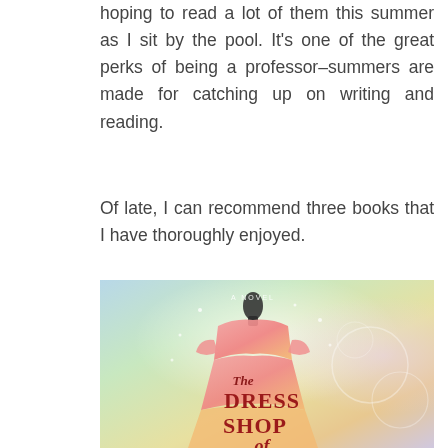hoping to read a lot of them this summer as I sit by the pool. It's one of the great perks of being a professor–summers are made for catching up on writing and reading.
Of late, I can recommend three books that I have thoroughly enjoyed.
[Figure (illustration): Book cover of 'The Dress Shop' — a novel. Shows a mannequin wearing a pink/coral dress on a soft colorful background (blue, green, yellow, rainbow tones). The title 'The Dress Shop' is displayed in large red serif letters with 'The' in cursive script above. Above the mannequin appears 'A NOVEL' in small white letters.]